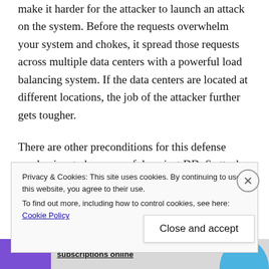make it harder for the attacker to launch an attack on the system. Before the requests overwhelm your system and chokes, it spread those requests across multiple data centers with a powerful load balancing system. If the data centers are located at different locations, the job of the attacker further gets tougher.
There are other preconditions for this defense mechanism to be successful against DDoS attacks. The data centers must be connected to
Privacy & Cookies: This site uses cookies. By continuing to use this website, you agree to their use.
To find out more, including how to control cookies, see here: Cookie Policy
Close and accept
[Figure (other): Advertisement bar at the bottom with purple banner and text 'subscriptions online']